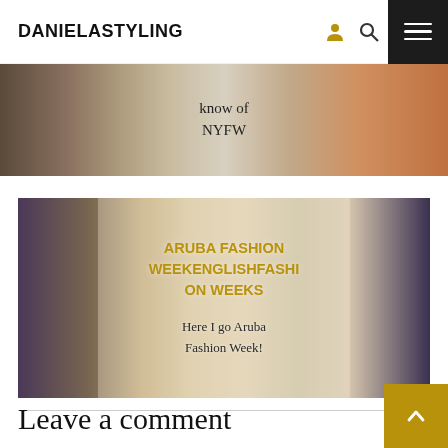DANIELASTYLING
[Figure (photo): Partial top banner image showing fashion items with text 'know of NYFW']
[Figure (photo): Collage image of colorful fashion accessories and bags with overlay text: 'ARUBA FASHION WEEKENGLISHFASHION WEEKS' in gold and 'Here I go Aruba Fashion Week!' in dark]
Leave a comment